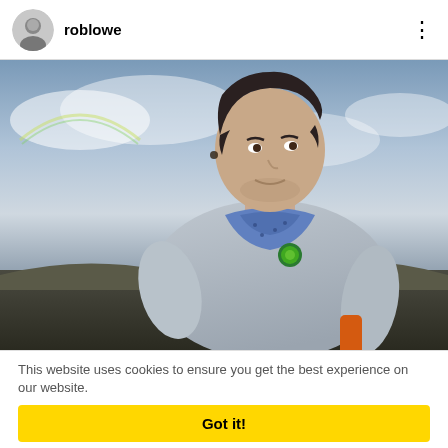[Figure (screenshot): Instagram post header with circular avatar of a man, username 'roblowe', and three-dot menu icon on the right]
[Figure (photo): A man with dark hair wearing a grey t-shirt and blue bandana/neckerchief, holding an orange object, standing outdoors with a scenic sky and landscape background]
This website uses cookies to ensure you get the best experience on our website.
Got it!